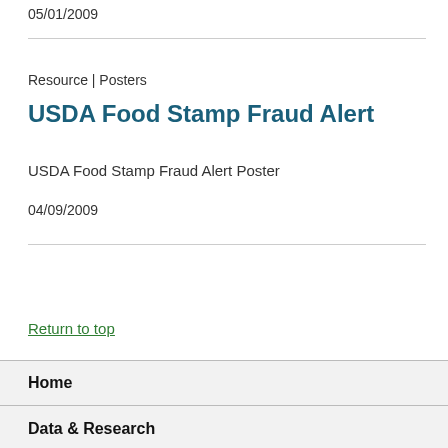05/01/2009
Resource | Posters
USDA Food Stamp Fraud Alert
USDA Food Stamp Fraud Alert Poster
04/09/2009
Return to top
Home
Data & Research